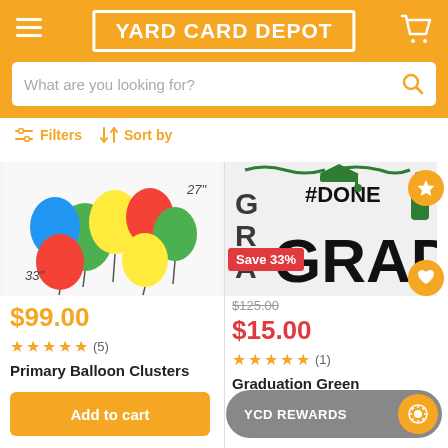YARD CARD DEPOT
[Figure (screenshot): Search bar with placeholder text 'What are you looking for?']
Filters  Sort by
[Figure (photo): Colorful primary balloon clusters of various sizes labeled 27" and 33"]
$99.00
★★★★★ (5)
Primary Balloon Clusters
[Figure (photo): Graduation themed yard card with text GRAD and #DONE]
Save 33%
$125.00
$15.00
★★★★★ (1)
Graduation Green
Add to cart
YCD REWARDS